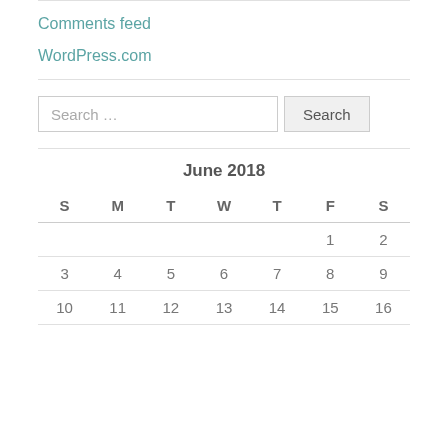Comments feed
WordPress.com
Search …
| S | M | T | W | T | F | S |
| --- | --- | --- | --- | --- | --- | --- |
|  |  |  |  |  | 1 | 2 |
| 3 | 4 | 5 | 6 | 7 | 8 | 9 |
| 10 | 11 | 12 | 13 | 14 | 15 | 16 |